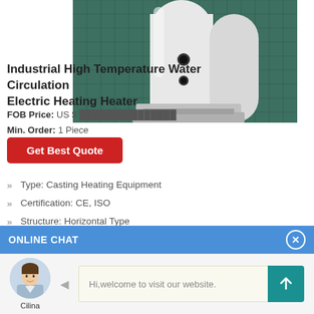[Figure (photo): Industrial water heater/tank product photo — white cylindrical heater with dark openings/ports, placed on a tiled surface with green/teal tiles]
Industrial High Temperature Water Circulation Electric Heating Heater
FOB Price: US $ ...
Min. Order: 1 Piece
Get Best Quote
Type: Casting Heating Equipment
Certification: CE, ISO
Structure: Horizontal Type
ONLINE CHAT
[Figure (photo): Avatar of a female customer service representative named Cilina]
Cilina
Hi,welcome to visit our website.